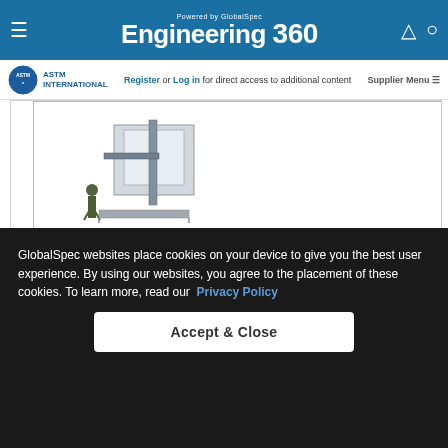Powered by GlobalSpec Engineering 360
[Figure (logo): ASTM International logo]
Register or Log in for direct access to additional content
Supplier Menu
[Figure (photo): Engineering equipment/apparatus photo showing mechanical device]
Document History
GlobalSpec websites place cookies on your device to give you the best user experience. By using our websites, you agree to the placement of these cookies. To learn more, read our Privacy Policy
Accept & Close